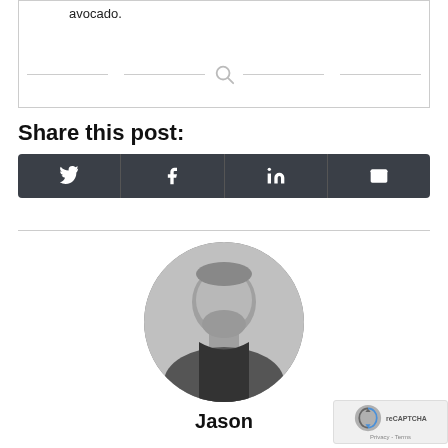avocado.
[Figure (other): Search icon with horizontal divider lines on either side]
Share this post:
[Figure (other): Social share buttons bar with Twitter, Facebook, LinkedIn, and Email icons on dark background]
[Figure (photo): Circular black and white portrait photo of a bearded man named Jason]
Jason